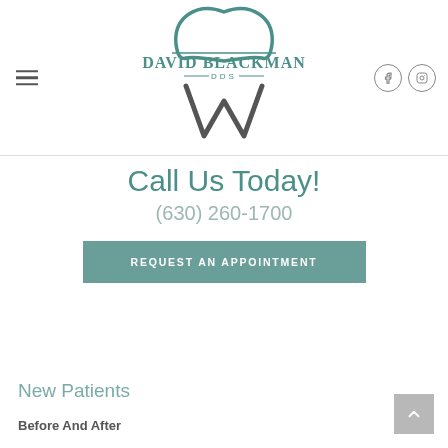[Figure (logo): David Blackman DDS dental practice logo with teal tooth and W shape]
Call Us Today!
(630) 260-1700
REQUEST AN APPOINTMENT
New Patients
Before And After